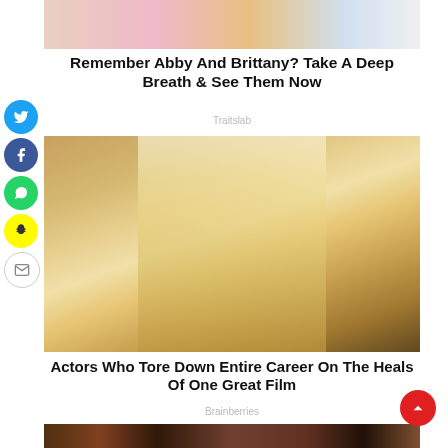[Figure (photo): Partial photo at top of page showing two people, cropped]
Remember Abby And Brittany? Take A Deep Breath & See Them Now
Traitslab
[Figure (photo): Close-up photo of a young blonde woman with blue eyes looking at camera]
Actors Who Tore Down Entire Career On The Heals Of One Great Film
Brainberries
[Figure (photo): Partial photo at bottom of page, partially cropped]